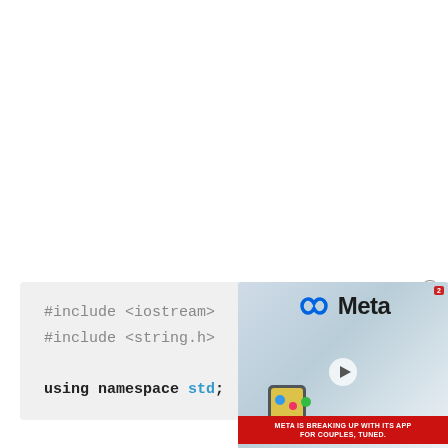[Figure (screenshot): Advertisement overlay showing Meta logo with infinity symbol, tagline 'META IS BREAKING UP WITH ITS APP FOR COUPLES, TUNED.' on a red banner, with a close (X) button in top right corner. Background shows hand holding phone with emoji reactions.]